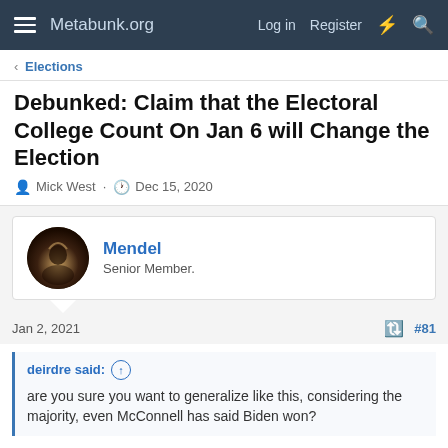Metabunk.org   Log in   Register
< Elections
Debunked: Claim that the Electoral College Count On Jan 6 will Change the Election
Mick West · Dec 15, 2020
Mendel
Senior Member.
Jan 2, 2021   #81
deirdre said: ↑
are you sure you want to generalize like this, considering the majority, even McConnell has said Biden won?
You said that "conservatives" think the "intent is justified"; I was replying to that and referring to these people. If you're now claiming that the majority of Republicans believe that an